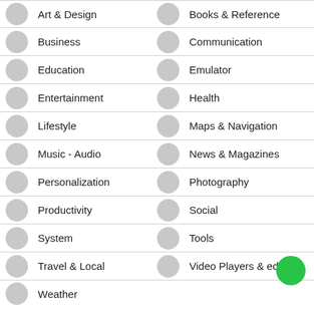Art & Design
Books & Reference
Business
Communication
Education
Emulator
Entertainment
Health
Lifestyle
Maps & Navigation
Music - Audio
News & Magazines
Personalization
Photography
Productivity
Social
System
Tools
Travel & Local
Video Players & edi
Weather